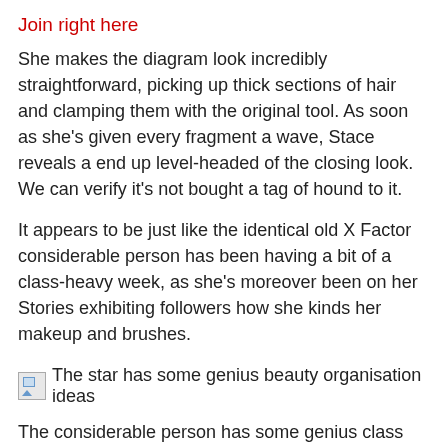Join right here
She makes the diagram look incredibly straightforward, picking up thick sections of hair and clamping them with the original tool. As soon as she's given every fragment a wave, Stace reveals a end up level-headed of the closing look. We can verify it's not bought a tag of hound to it.
It appears to be just like the identical old X Factor considerable person has been having a bit of a class-heavy week, as she's moreover been on her Stories exhibiting followers how she kinds her makeup and brushes.
[Figure (photo): Broken image placeholder with alt text: The star has some genius beauty organisation ideas]
The considerable person has some genius class organisation solutions
(Image: Instagram / Stacey Solomon)